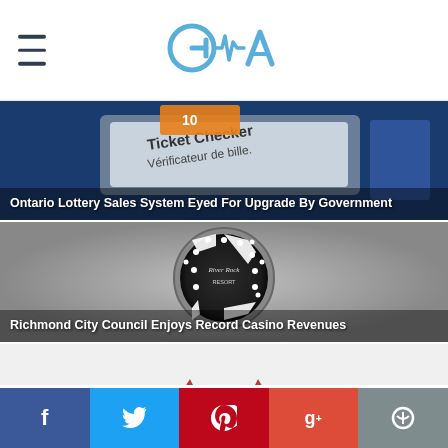CGA logo with hamburger menu
[Figure (photo): Close-up of a lottery ticket checker device with 'Ticket Checker / Vérificateur de bille.' text visible, dark blue background]
Ontario Lottery Sales System Eyed For Upgrade By Government
[Figure (photo): Close-up of a black and white casino poker chip with River Rock Resort text visible]
Richmond City Council Enjoys Record Casino Revenues
[Figure (photo): Atlantic Lottery logo - red sail/boat shape with yellow and blue wave elements on white background]
Atlantic Lottery Celebrates 10 Years Online With Special Prize Draws
f  Twitter  Pinterest  g+  Comment